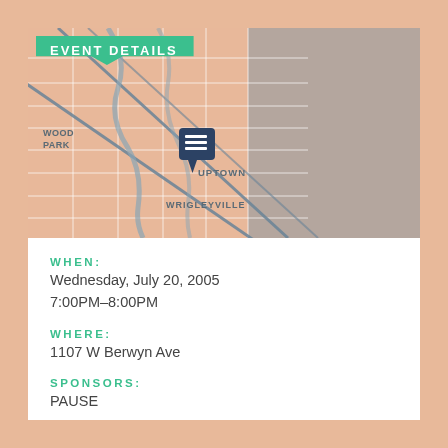EVENT DETAILS
[Figure (map): Street map of Chicago showing Uptown and Wrigleyville neighborhoods with a location pin marker, lake (gray area) to the right, and street grid in peach/salmon tones with white lines. A navy location pin with horizontal lines icon marks the venue.]
WHEN:
Wednesday, July 20, 2005
7:00PM–8:00PM
WHERE:
1107 W Berwyn Ave
SPONSORS:
PAUSE